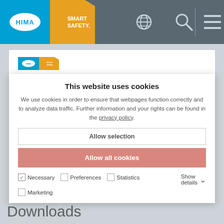[Figure (logo): HIMA Smart Safety logo in navigation bar with blue and yellow blocks, globe icon, search icon, and hamburger menu]
Document Information Service
Register to download more than 2,000 documents such as datasheets, documentation or software files.
To the extranet
This website uses cookies
We use cookies in order to ensure that webpages function correctly and to analyze data traffic. Further information and your rights can be found in the privacy policy.
Allow selection
Allow all cookies
Necessary  Preferences  Statistics  Show details  Marketing
Downloads